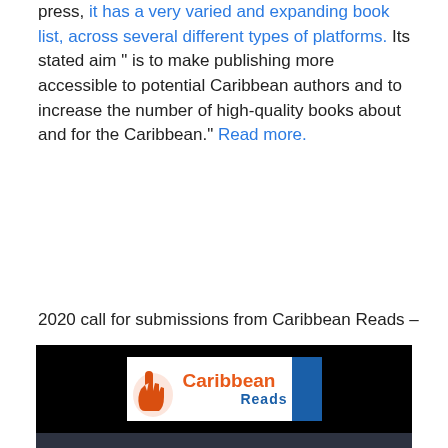press, it has a very varied and expanding book list, across several different types of platforms. Its stated aim " is to make publishing more accessible to potential Caribbean authors and to increase the number of high-quality books about and for the Caribbean." Read more.
2020 call for submissions from Caribbean Reads –
[Figure (photo): Caribbean Reads promotional image showing the logo (with a hand pointing icon, 'Caribbean' in orange and 'Reads' in blue text, and a blue sidebar) on a black background above, and below a dark photo of a person writing at a desk with a coffee mug, overlaid with bold white text: 'CaribbeanReads is accepting Caribbean middle-grade manuscripts' and smaller text 'VISIT OUR SITE FOR DETAILS!']